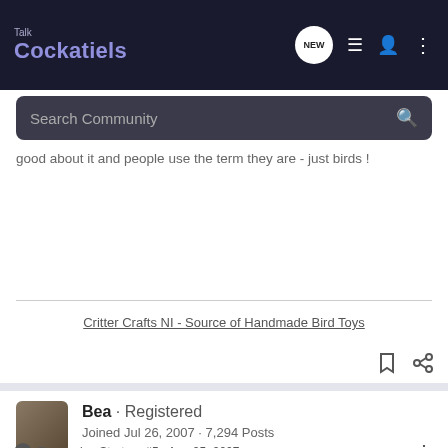Talk Cockatiels
Search Community
good about it and people use the term they are - just birds !
Critter Crafts NI - Source of Handmade Bird Toys
Bea · Registered
Joined Jul 26, 2007 · 7,294 Posts
Discussion Starter · #5 · Aug 25, 2007